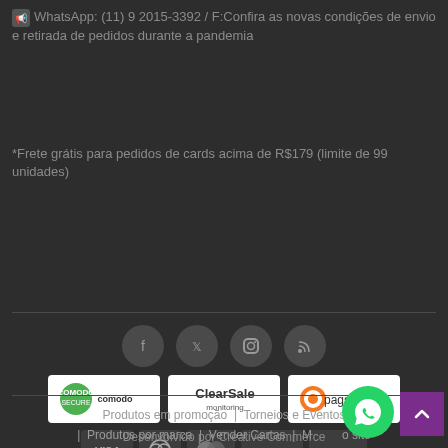WhatsApp: (11) 9 2015-3392 / F:Confira as novas condições de envio e retirada de pedidos durante a pandemia
*Frete grátis para pedidos de cards acima de R$179 (limite de 99 unidades)
[Figure (other): Social media icons: Facebook, Twitter, Instagram, RSS feed]
[Figure (other): Security badges: Comodo Secure, ClearSale monitoring, PagSeguro]
[Figure (other): Payment method icons: VISA, Dinners, Mastercard, Discover, American Express]
Produtos em promoção | Torneios e Eventos | Produtos por marca | Vender Cartas | Mapa do site | Entre em contato
Desenvolvido por Creative Commerce